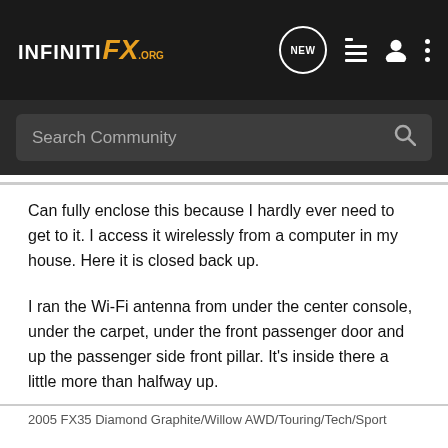INFINITI FX .org — NEW — [nav icons]
Can fully enclose this because I hardly ever need to get to it. I access it wirelessly from a computer in my house. Here it is closed back up.
I ran the Wi-Fi antenna from under the center console, under the carpet, under the front passenger door and up the passenger side front pillar. It's inside there a little more than halfway up.
2005 FX35 Diamond Graphite/Willow AWD/Touring/Tech/Sport